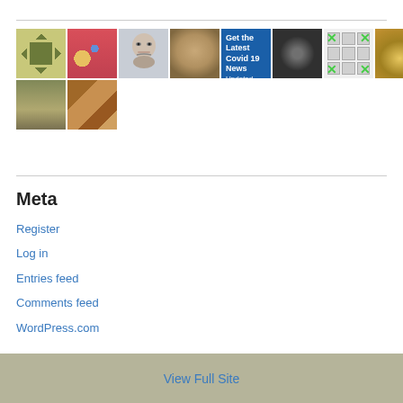[Figure (photo): A grid of thumbnail images: decorative pattern (green/tan), illustrated figure on red, face portrait, cat photo, blue 'Get the Latest Covid 19 News Updated Often' graphic, abstract dark starburst, green X pattern on white, golden tree-lined path, slice of layered cake, abstract brown texture]
Meta
Register
Log in
Entries feed
Comments feed
WordPress.com
View Full Site